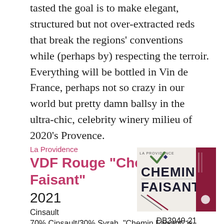tasted the goal is to make elegant, structured but not over-extracted reds that break the regions' conventions while (perhaps by) respecting the terroir. Everything will be bottled in Vin de France, perhaps not so crazy in our world but pretty damn ballsy in the ultra-chic, celebrity winery milieu of 2020's Provence.
La Providence
VDF Rouge "Chemin Faisant"
2021
Cinsault
70% Cinsault/30% Syrah. "Chemin Faisant" is the second wine, in its first vintage, from new grower La Providence. In far-west Provence in...
DB3940-21
Organic
[Figure (illustration): Wine bottle label for La Providence Chemin Faisant showing bold black text CHEMIN FAISANT with green and dark red decorative elements and a red bordeaux-style bottle label on right side]